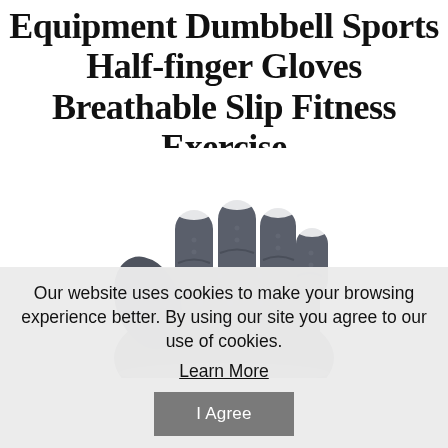Equipment Dumbbell Sports Half-finger Gloves Breathable Slip Fitness Exercise
[Figure (photo): A hand wearing a gray half-finger fitness glove, shown in a fist position against a white background. The glove has a textured fabric surface.]
Our website uses cookies to make your browsing experience better. By using our site you agree to our use of cookies.
Learn More
I Agree